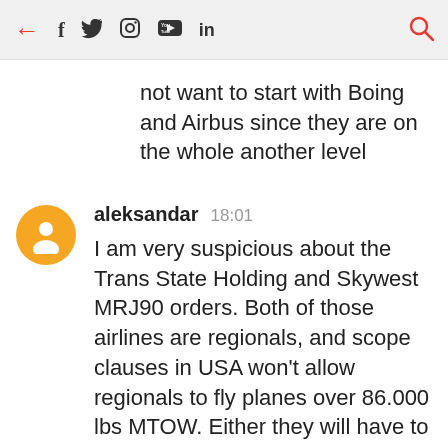← f 🐦 📷 ▶ in 🔍
not want to start with Boing and Airbus since they are on the whole another level
aleksandar 18:01
I am very suspicious about the Trans State Holding and Skywest MRJ90 orders. Both of those airlines are regionals, and scope clauses in USA won't allow regionals to fly planes over 86.000 lbs MTOW. Either they will have to change to the smaller MRJ70, derate the plane (most likely impossible because it can only fly 900 nm with standard weights), or fly the planes for themselves or lease them out. Either way, this makes me think that those planes may never be delivered, because I don't think the